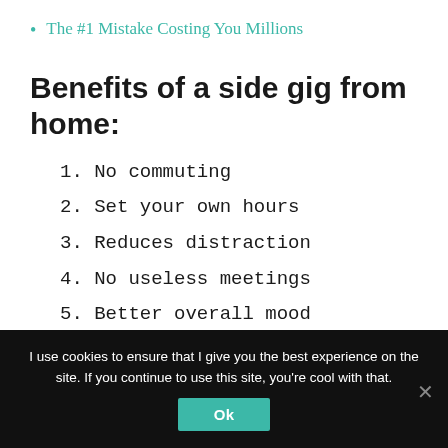The #1 Mistake Costing You Millions
Benefits of a side gig from home:
1. No commuting
2. Set your own hours
3. Reduces distraction
4. No useless meetings
5. Better overall mood
I use cookies to ensure that I give you the best experience on the site. If you continue to use this site, you're cool with that.